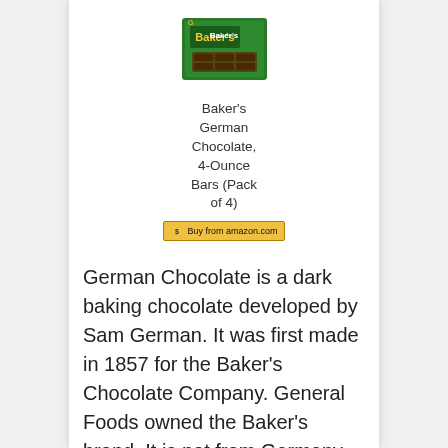[Figure (photo): Baker's German Chocolate bar product image - green packaging]
Baker's German Chocolate, 4-Ounce Bars (Pack of 4)
[Figure (logo): Buy from Amazon.com button]
German Chocolate is a dark baking chocolate developed by Sam German. It was first made in 1857 for the Baker's Chocolate Company. General Foods owned the Baker's brand. It is not from Germany as the name may make you think that. It is American made. The first cake that was made with this